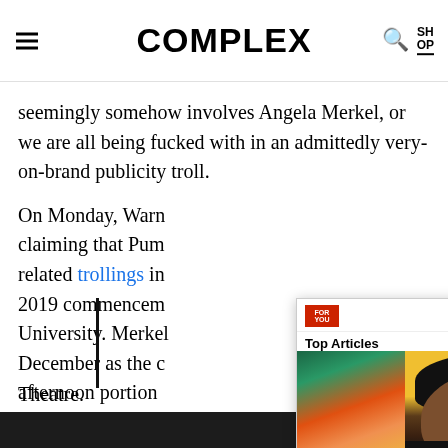COMPLEX
seemingly somehow involves Angela Merkel, or we are all being fucked with in an admittedly very-on-brand publicity troll.

On Monday, Warner [claiming that Pum... related trollings in... 2019 commencement... University. Merkel... December as the c... afternoon portion... ceremony, which i... Theatre.
[Figure (screenshot): Top Articles popup overlay showing two thumbnail images — one illustrated portrait and one photo of a smiling man — with a black arrow navigation button and a black strip below.]